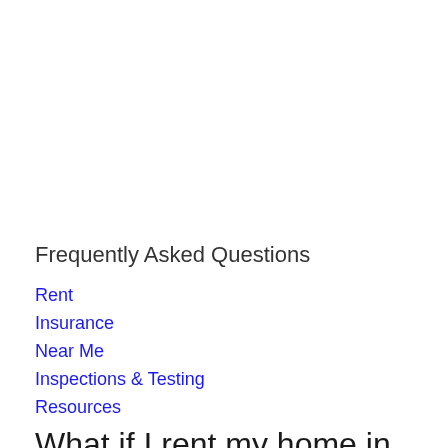Frequently Asked Questions
Rent
Insurance
Near Me
Inspections & Testing
Resources
What if I rent my home in Oxford?
If you are renting your home, apartment or